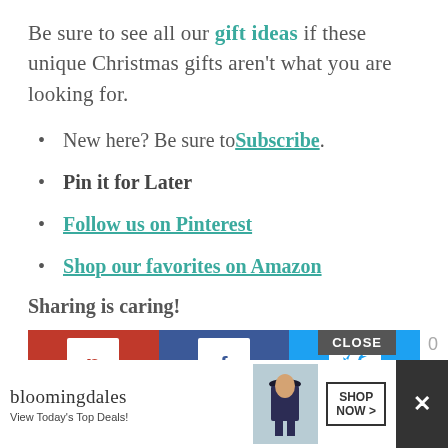Be sure to see all our gift ideas if these unique Christmas gifts aren't what you are looking for.
New here? Be sure to Subscribe.
Pin it for Later
Follow us on Pinterest
Shop our favorites on Amazon
Sharing is caring!
[Figure (screenshot): Social sharing buttons: Pinterest (red), Facebook (blue), Twitter (light blue)]
[Figure (screenshot): Bloomingdale's advertisement banner with CLOSE button and X close button]